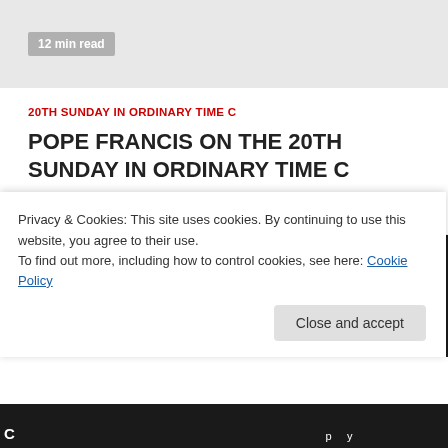12 min read
20TH SUNDAY IN ORDINARY TIME C
POPE FRANCIS ON THE 20TH SUNDAY IN ORDINARY TIME C
catholicsstrivingforholiness   2 weeks ago
Archives
Privacy & Cookies: This site uses cookies. By continuing to use this website, you agree to their use.
To find out more, including how to control cookies, see here: Cookie Policy
Close and accept